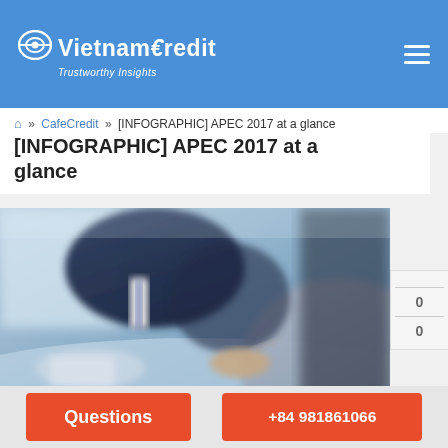VietnamCredit — Trustworthy Insights
🏠 » CafeCredit » [INFOGRAPHIC] APEC 2017 at a glance
[INFOGRAPHIC] APEC 2017 at a glance
[Figure (photo): Two businessmen in suits at a table, one writing with a pen, blurred background, business meeting setting]
0
0
Questions    +84 981861066